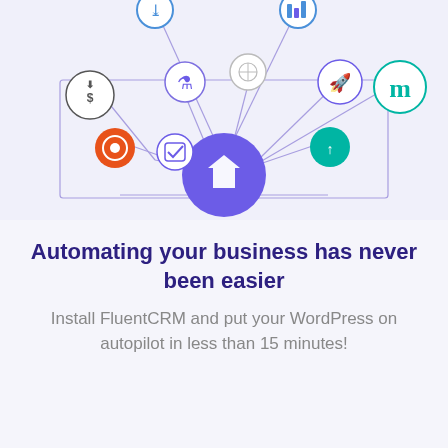[Figure (network-graph): Integration diagram showing multiple app icons (with logos for various tools/services) connected by purple arrows pointing toward a central FluentCRM logo hub (purple semicircle with white checkmark/arrow icon). Apps include: a dollar-download icon, a bottle/potion icon, a compass/target icon, a rocket icon, a teal 'm' icon, an orange circular icon, a checkbox icon, a teal chart icon, and others all connected via lines and arrows to the central hub.]
Automating your business has never been easier
Install FluentCRM and put your WordPress on autopilot in less than 15 minutes!